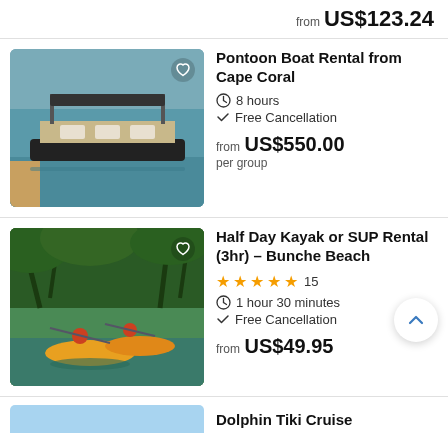from US$123.24
[Figure (photo): Pontoon boat docked at a marina on calm water, with a canopy top and seating visible]
Pontoon Boat Rental from Cape Coral
8 hours
Free Cancellation
from US$550.00 per group
[Figure (photo): Two people kayaking in yellow kayaks through a mangrove forest waterway]
Half Day Kayak or SUP Rental (3hr) - Bunche Beach
15 reviews, 5 stars
1 hour 30 minutes
Free Cancellation
from US$49.95
Dolphin Tiki Cruise